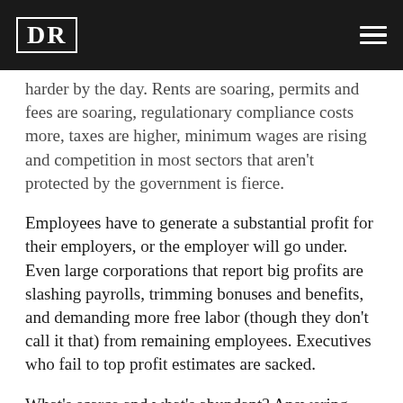DR
harder by the day. Rents are soaring, permits and fees are soaring, regulationary compliance costs more, taxes are higher, minimum wages are rising and competition in most sectors that aren't protected by the government is fierce.
Employees have to generate a substantial profit for their employers, or the employer will go under. Even large corporations that report big profits are slashing payrolls, trimming bonuses and benefits, and demanding more free labor (though they don't call it that) from remaining employees. Executives who fail to top profit estimates are sacked.
What's scarce and what's abundant? Answering these